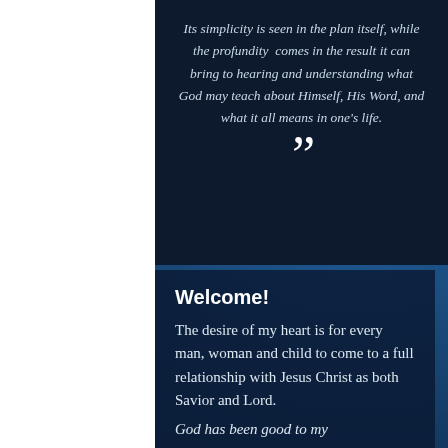Its simplicity is seen in the plan itself, while the profundity comes in the result it can bring to hearing and understanding what God may teach about Himself, His Word, and what it all means in one's life.
”
Welcome!
The desire of my heart is for every man, woman and child to come to a full relationship with Jesus Christ as both Savior and Lord.
God has been good to my